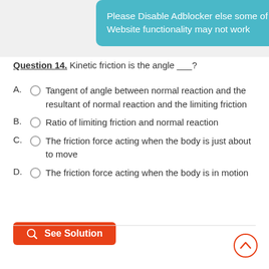Please Disable Adblocker else some of Website functionality may not work
Question 14. Kinetic friction is the angle ___?
A. Tangent of angle between normal reaction and the resultant of normal reaction and the limiting friction
B. Ratio of limiting friction and normal reaction
C. The friction force acting when the body is just about to move
D. The friction force acting when the body is in motion
See Solution